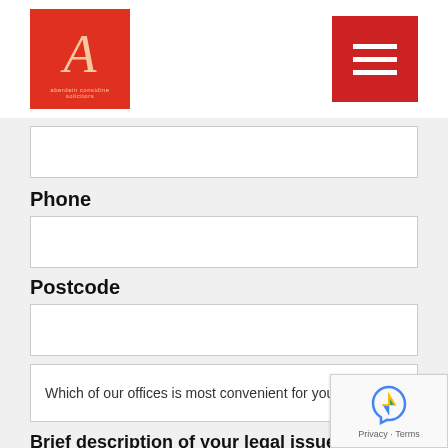Aberdein Considine law firm logo and navigation menu
Phone
Postcode
Which of our offices is most convenient for you?*
Brief description of your legal issue